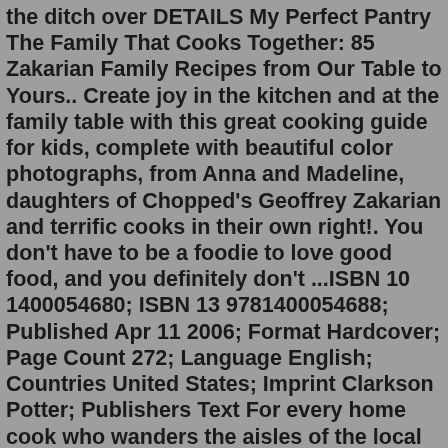the ditch over DETAILS My Perfect Pantry The Family That Cooks Together: 85 Zakarian Family Recipes from Our Table to Yours.. Create joy in the kitchen and at the family table with this great cooking guide for kids, complete with beautiful color photographs, from Anna and Madeline, daughters of Chopped's Geoffrey Zakarian and terrific cooks in their own right!. You don't have to be a foodie to love good food, and you definitely don't ...ISBN 10 1400054680; ISBN 13 9781400054688; Published Apr 11 2006; Format Hardcover; Page Count 272; Language English; Countries United States; Imprint Clarkson Potter; Publishers Text For every home cook who wanders the aisles of the local supermarket asking the question “What do I want to cook for dinner?,” celebrated chef Geoffrey Zakarian—owner of the highly acclaimed restaurants Town ... May 24, 2022 · When learning to cook it’s easy to skip over the basics and dive right into the flashier skills. But Chef Geoffrey Zakarian has the perfect book to help you get back to the simple skills and recipes that every